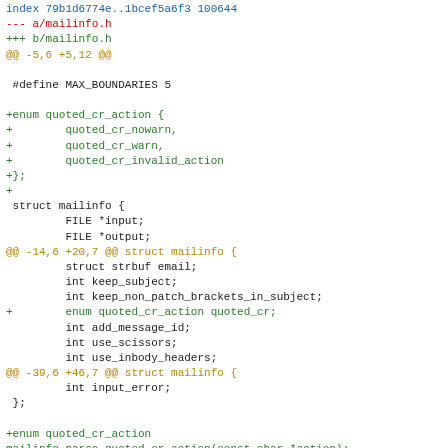Git diff output showing changes to mailinfo.h header file including addition of quoted_cr_action enum and related struct member